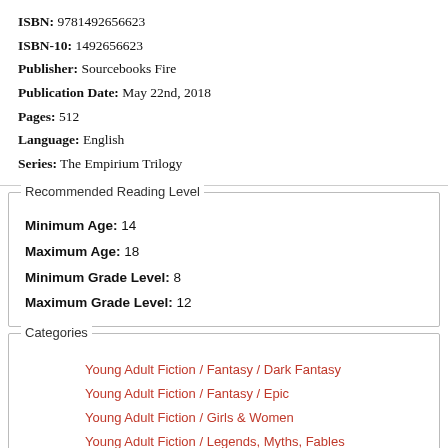ISBN: 9781492656623
ISBN-10: 1492656623
Publisher: Sourcebooks Fire
Publication Date: May 22nd, 2018
Pages: 512
Language: English
Series: The Empirium Trilogy
Recommended Reading Level
Minimum Age: 14
Maximum Age: 18
Minimum Grade Level: 8
Maximum Grade Level: 12
Categories
Young Adult Fiction / Fantasy / Dark Fantasy
Young Adult Fiction / Fantasy / Epic
Young Adult Fiction / Girls & Women
Young Adult Fiction / Legends, Myths, Fables